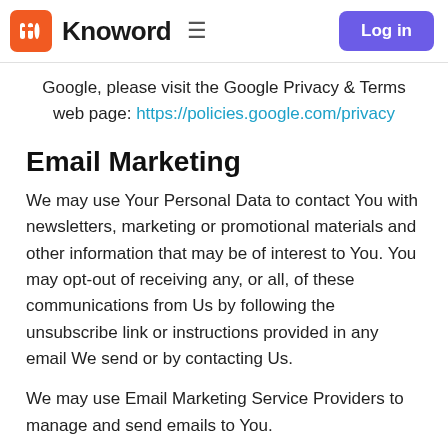Knoword — Log in
Google, please visit the Google Privacy & Terms web page: https://policies.google.com/privacy
Email Marketing
We may use Your Personal Data to contact You with newsletters, marketing or promotional materials and other information that may be of interest to You. You may opt-out of receiving any, or all, of these communications from Us by following the unsubscribe link or instructions provided in any email We send or by contacting Us.
We may use Email Marketing Service Providers to manage and send emails to You.